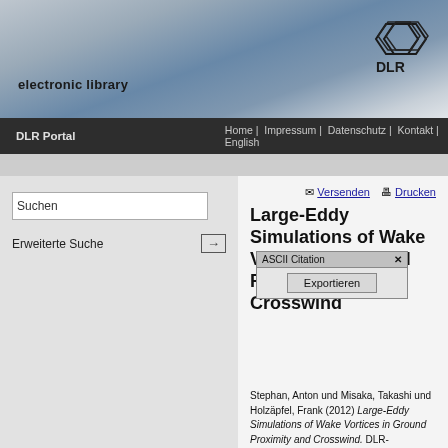electronic library
DLR Portal | Home | Impressum | Datenschutz | Kontakt | English
Suchen
Erweiterte Suche
Versenden   Drucken
Large-Eddy Simulations of Wake Vortices in Ground Proximity and Crosswind
ASCII Citation
Exportieren
Stephan, Anton und Misaka, Takashi und Holzäpfel, Frank (2012) Large-Eddy Simulations of Wake Vortices in Ground Proximity and Crosswind. DLR-Forschungsbericht, Projektbericht. DLR-FB--2012-02. DLR. 10 S.
[Figure (other): PDF file icon indicating a downloadable PDF of 1MB]
PDF
1MB
Kurzfassung